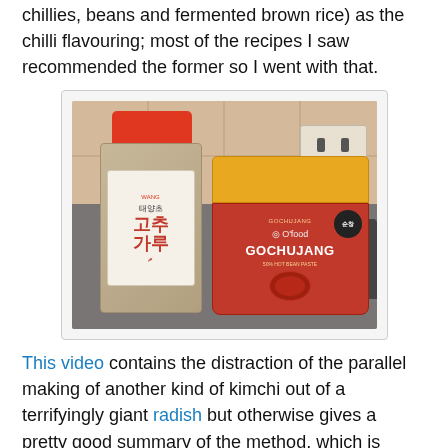chillies, beans and fermented brown rice) as the chilli flavouring; most of the recipes I saw recommended the former so I went with that.
[Figure (photo): Photo of two Korean chilli products on a kitchen counter: a bottle of gochugaru (Korean chilli powder) with red cap and Korean text, and a tub of O'Food Gochujang fermented chilli paste with yellow lid and red body, with a UK electrical socket visible in the background.]
This video contains the distraction of the parallel making of another kind of kimchi out of a terrifyingly giant radish but otherwise gives a pretty good summary of the method, which is really pretty simple; soak the chopped cabbage in some salted water a bit to wilt it, make a fearsome-looking paste out of the crushed garlic and chilli powder and the shredded